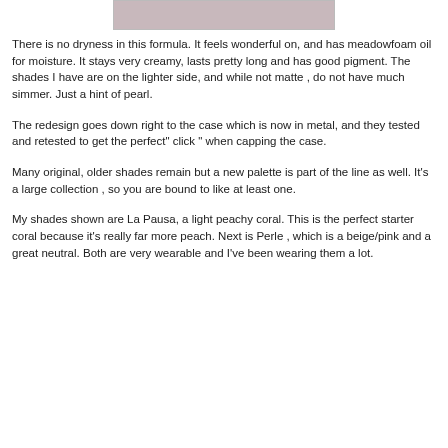[Figure (photo): Partial photo visible at top of page, cropped, showing what appears to be a cosmetic or beauty product image.]
There is no dryness in this formula. It feels wonderful on, and has meadowfoam oil for moisture. It stays very creamy, lasts pretty long and has good pigment. The shades I have are on the lighter side, and while not matte , do not have much simmer. Just a hint of pearl.
The redesign goes down right to the case which is now in metal, and they tested and retested to get the perfect" click " when capping the case.
Many original, older shades remain but a new palette is part of the line as well. It's a large collection , so you are bound to like at least one.
My shades shown are La Pausa, a light peachy coral. This is the perfect starter coral because it's really far more peach. Next is Perle , which is a beige/pink and a great neutral. Both are very wearable and I've been wearing them a lot.